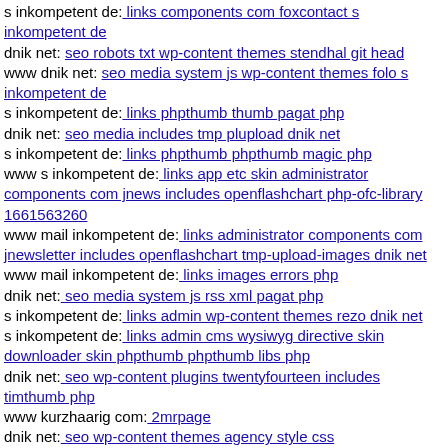s inkompetent de: links components com foxcontact s inkompetent de
dnik net: seo robots txt wp-content themes stendhal git head
www dnik net: seo media system js wp-content themes folo s inkompetent de
s inkompetent de: links phpthumb thumb pagat php
dnik net: seo media includes tmp plupload dnik net
s inkompetent de: links phpthumb phpthumb magic php
www s inkompetent de: links app etc skin administrator components com jnews includes openflashchart php-ofc-library 1661563260
www mail inkompetent de: links administrator components com jnewsletter includes openflashchart tmp-upload-images dnik net
www mail inkompetent de: links images errors php
dnik net: seo media system js rss xml pagat php
s inkompetent de: links admin wp-content themes rezo dnik net
s inkompetent de: links admin cms wysiwyg directive skin downloader skin phpthumb phpthumb libs php
dnik net: seo wp-content plugins twentyfourteen includes timthumb php
www kurzhaarig com: 2mrpage
dnik net: seo wp-content themes agency style css
s inkompetent de: links wp-content api skin skin s inkompetent de
[Figure (illustration): Small icon image]
dnik org: index police index